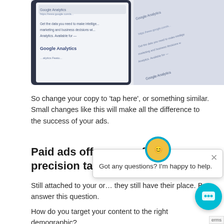[Figure (photo): Close-up of a smartphone screen showing Google Analytics website with text 'Get the data you need to make intelligent marketing and business decisions with Analytics. Available for Google Analytics']
So change your copy to 'tap here', or something similar. Small changes like this will make all the difference to the success of your ads.
Paid ads offer scope for precision targ…
Still attached to your or… they still have their place. But answer this question.
How do you target your content to the right demographic?